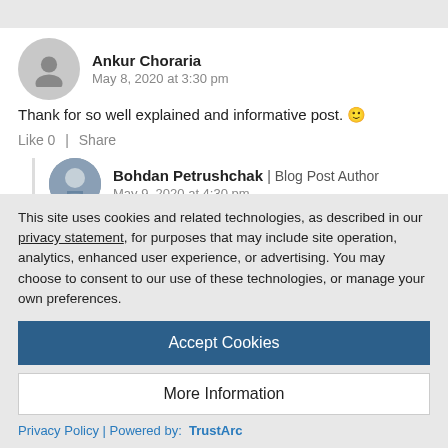Ankur Choraria
May 8, 2020 at 3:30 pm
Thank for so well explained and informative post. 🙂
Like 0  |  Share
Bohdan Petrushchak | Blog Post Author
May 9, 2020 at 4:30 pm
This site uses cookies and related technologies, as described in our privacy statement, for purposes that may include site operation, analytics, enhanced user experience, or advertising. You may choose to consent to our use of these technologies, or manage your own preferences.
Accept Cookies
More Information
Privacy Policy | Powered by: TrustArc